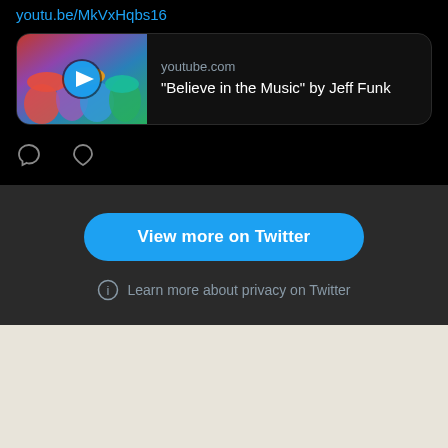youtu.be/MkVxHqbs16
[Figure (screenshot): YouTube video card showing a colorful video thumbnail with a play button, site label 'youtube.com', and title '"Believe in the Music" by Jeff Funk']
[Figure (other): Comment and like (heart) icons row below the video card]
View more on Twitter
Learn more about privacy on Twitter